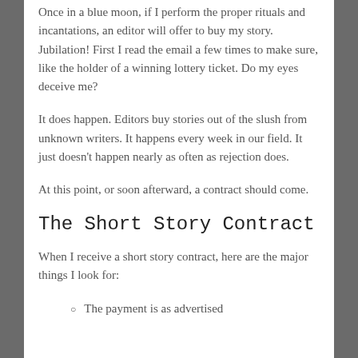Once in a blue moon, if I perform the proper rituals and incantations, an editor will offer to buy my story. Jubilation! First I read the email a few times to make sure, like the holder of a winning lottery ticket. Do my eyes deceive me?
It does happen. Editors buy stories out of the slush from unknown writers. It happens every week in our field. It just doesn't happen nearly as often as rejection does.
At this point, or soon afterward, a contract should come.
The Short Story Contract
When I receive a short story contract, here are the major things I look for:
The payment is as advertised